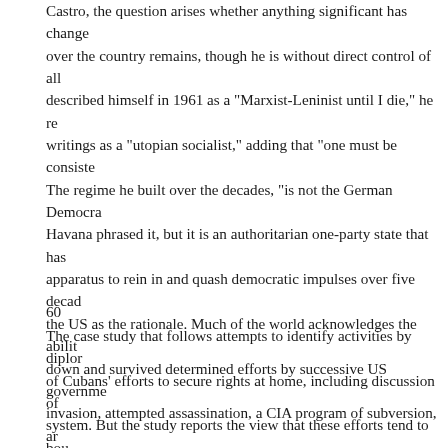Castro, the question arises whether anything significant has changed. His influence over the country remains, though he is without direct control of all levers of power. He described himself in 1961 as a "Marxist-Leninist until I die," he recanted that in later writings as a "utopian socialist," adding that "one must be consistent." The regime he built over the decades, "is not the German Democratic Republic," as one specialist in Havana phrased it, but it is an authoritarian one-party state that has employed a security apparatus to rein in and quash democratic impulses over five decades, using hostility of the US as the rationale. Much of the world acknowledges the ability of Cuba to stand down and survived determined efforts by successive US governments to bring it down: invasion, attempted assassination, a CIA program of subversion, and an embargo. But increasingly, democrats rebuke the regime for its invocation of sovereignty to justify the continued and even tighter suffocation of its own citizens.
60
The case study that follows attempts to identify activities by diplomats in support of Cubans' efforts to secure rights at home, including discussion of the political system. But the study reports the view that these efforts tend to bounce off a controlling regime that veers between self-confidence and paranoia about mutual leverage.